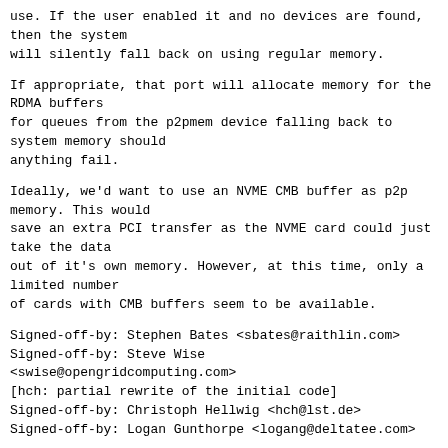use. If the user enabled it and no devices are found,
then the system
will silently fall back on using regular memory.
If appropriate, that port will allocate memory for the
RDMA buffers
for queues from the p2pmem device falling back to
system memory should
anything fail.
Ideally, we'd want to use an NVME CMB buffer as p2p
memory. This would
save an extra PCI transfer as the NVME card could just
take the data
out of it's own memory. However, at this time, only a
limited number
of cards with CMB buffers seem to be available.
Signed-off-by: Stephen Bates <sbates@raithlin.com>
Signed-off-by: Steve Wise <swise@opengridcomputing.com>
[hch: partial rewrite of the initial code]
Signed-off-by: Christoph Hellwig <hch@lst.de>
Signed-off-by: Logan Gunthorpe <logang@deltatee.com>
---
drivers/nvme/target/configfs.c | 36 +++++++
 drivers/nvme/target/core.c     | 138
+++++++++++++++++++++++++++-
 drivers/nvme/target/io-cmd-bdev.c | 3 +
 drivers/nvme/target/nvmet.h    | 13 +++
 drivers/nvme/target/rdma.c     | 2 +